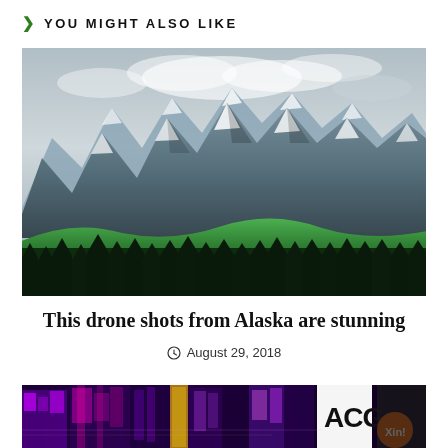> YOU MIGHT ALSO LIKE
[Figure (photo): Dramatic mountain landscape with jagged snow-capped peaks under cloudy sky, with dark green conifer forest in foreground. Alaska scenery.]
This drone shots from Alaska are stunning
August 29, 2018
[Figure (photo): Colorful neon-lit city street at night with purple and pink signs, urban nightlife scene. A visible sign reads 'ACG'.]